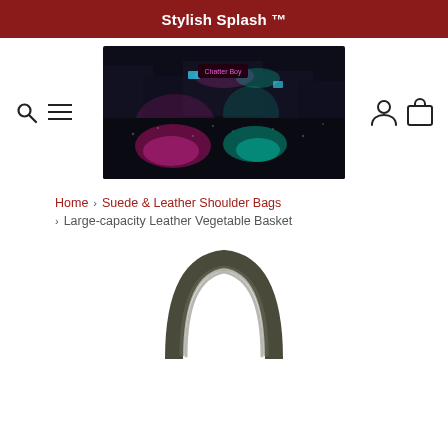Stylish Splash ™
[Figure (photo): Night street scene with colorful neon reflections on wet pavement, pink and teal/green light reflections visible]
Home › Suede & Leather Shoulder Bags › Large-capacity Leather Vegetable Basket
[Figure (photo): Top handle of a dark green/grey leather handbag (vegetable basket style) visible from above]